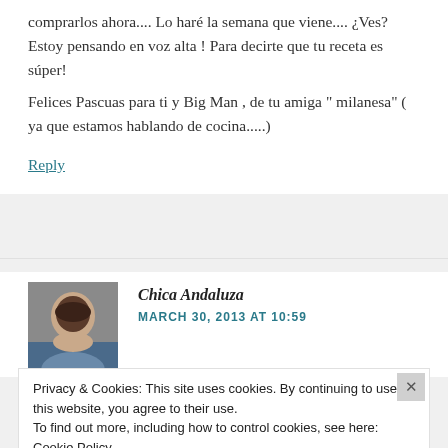comprarlos ahora.... Lo haré la semana que viene.... ¿Ves? Estoy pensando en voz alta ! Para decirte que tu receta es súper!
Felices Pascuas para ti y Big Man , de tu amiga " milanesa" ( ya que estamos hablando de cocina.....)
Reply
[Figure (photo): Avatar photo of a woman with dark hair, smiling]
Chica Andaluza
MARCH 30, 2013 AT 10:59
Privacy & Cookies: This site uses cookies. By continuing to use this website, you agree to their use.
To find out more, including how to control cookies, see here: Cookie Policy
Close and accept